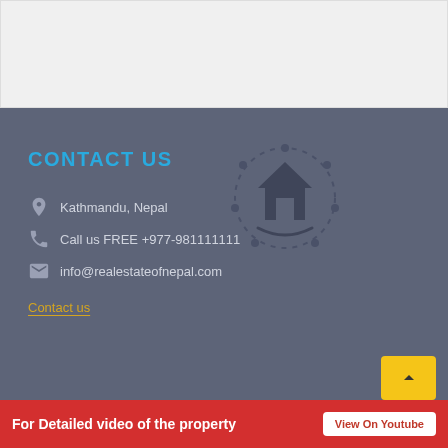[Figure (other): White/light grey top section — partial webpage screenshot showing blank top area]
CONTACT US
Kathmandu, Nepal
Call us FREE +977-981111111
info@realestateofnepal.com
Contact us
[Figure (logo): Circular logo with a house icon and dotted circle border on grey background]
[Figure (other): Yellow square button with upward chevron arrow]
For Detailed video of the property
View On Youtube